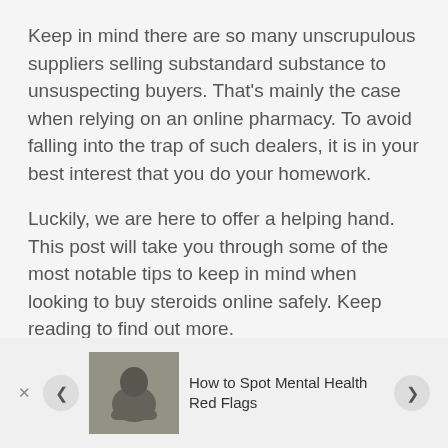Keep in mind there are so many unscrupulous suppliers selling substandard substance to unsuspecting buyers. That's mainly the case when relying on an online pharmacy. To avoid falling into the trap of such dealers, it is in your best interest that you do your homework.
Luckily, we are here to offer a helping hand. This post will take you through some of the most notable tips to keep in mind when looking to buy steroids online safely. Keep reading to find out more.
Use Legitimate and Real Pharmacies
[Figure (photo): Advertisement bar showing a person with head down, with text 'How to Spot Mental Health Red Flags' and navigation arrows]